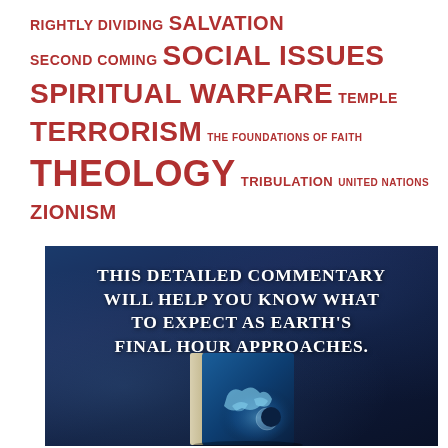RIGHTLY DIVIDING SALVATION SECOND COMING SOCIAL ISSUES SPIRITUAL WARFARE TEMPLE TERRORISM THE FOUNDATIONS OF FAITH THEOLOGY TRIBULATION UNITED NATIONS ZIONISM
[Figure (illustration): Dark blue atmospheric background with white bold uppercase text reading 'THIS DETAILED COMMENTARY WILL HELP YOU KNOW WHAT TO EXPECT AS EARTH'S FINAL HOUR APPROACHES.' and a book with a glowing blue world map and eclipse on its cover shown at the bottom of the image.]